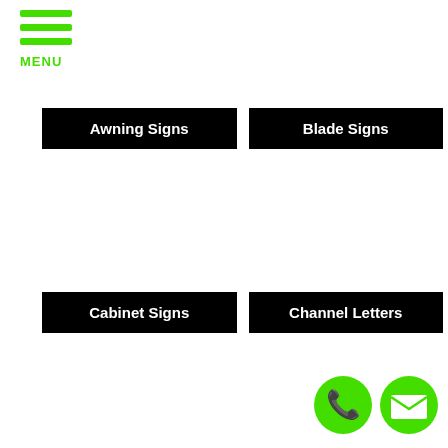[Figure (infographic): Green hamburger menu icon with three horizontal green bars and MENU label in green below]
Awning Signs
Blade Signs
Cabinet Signs
Channel Letters
[Figure (infographic): Two circular green buttons: a phone icon and an envelope/mail icon]